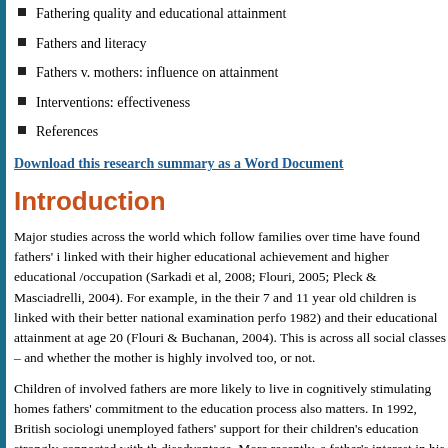Fathering quality and educational attainment
Fathers and literacy
Fathers v. mothers: influence on attainment
Interventions: effectiveness
References
Download this research summary as a Word Document
Introduction
Major studies across the world which follow families over time have found fathers' i linked with their higher educational achievement and higher educational /occupation (Sarkadi et al, 2008; Flouri, 2005; Pleck & Masciadrelli, 2004). For example, in the their 7 and 11 year old children is linked with their better national examination perfo 1982) and their educational attainment at age 20 (Flouri & Buchanan, 2004). This is across all social classes – and whether the mother is highly involved too, or not.
Children of involved fathers are more likely to live in cognitively stimulating homes fathers' commitment to the education process also matters. In 1992, British sociologi unemployed fathers' support for their children's education strongly connected with th disadvantage. More recently, a father's interest in his child's education, particularly a more influence than family background, the child's personality or poverty on educati Blanden (2006) found low fatherly interest similarly predictive – in the other directo